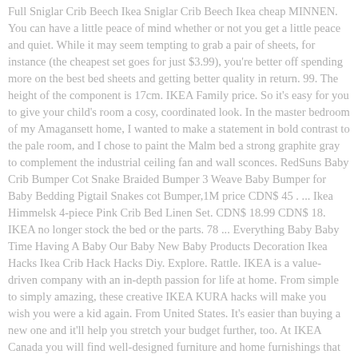Full Sniglar Crib Beech Ikea Sniglar Crib Beech Ikea cheap MINNEN. You can have a little peace of mind whether or not you get a little peace and quiet. While it may seem tempting to grab a pair of sheets, for instance (the cheapest set goes for just $3.99), you're better off spending more on the best bed sheets and getting better quality in return. 99. The height of the component is 17cm. IKEA Family price. So it's easy for you to give your child's room a cosy, coordinated look. In the master bedroom of my Amagansett home, I wanted to make a statement in bold contrast to the pale room, and I chose to paint the Malm bed a strong graphite gray to complement the industrial ceiling fan and wall sconces. RedSuns Baby Crib Bumper Cot Snake Braided Bumper 3 Weave Baby Bumper for Baby Bedding Pigtail Snakes cot Bumper,1M price CDN$ 45 . ... Ikea Himmelsk 4-piece Pink Crib Bed Linen Set. CDN$ 18.99 CDN$ 18. IKEA no longer stock the bed or the parts. 78 ... Everything Baby Baby Time Having A Baby Our Baby New Baby Products Decoration Ikea Hacks Ikea Crib Hack Hacks Diy. Explore. Rattle. IKEA is a value-driven company with an in-depth passion for life at home. From simple to simply amazing, these creative IKEA KURA hacks will make you wish you were a kid again. From United States. It's easier than buying a new one and it'll help you stretch your budget further, too. At IKEA Canada you will find well-designed furniture and home furnishings that are functional and